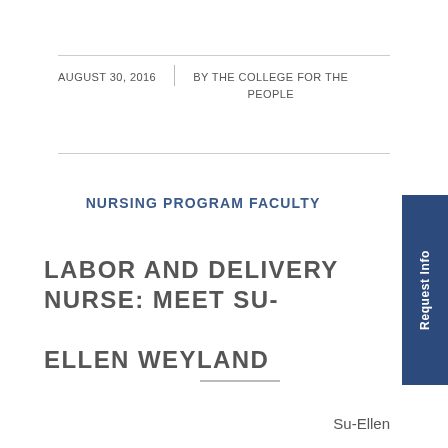AUGUST 30, 2016 | BY THE COLLEGE FOR THE PEOPLE
NURSING PROGRAM FACULTY
LABOR AND DELIVERY NURSE: MEET SU-ELLEN WEYLAND
Su-Ellen